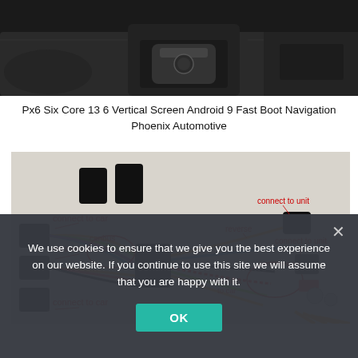[Figure (photo): Interior of a car dashboard showing the center console area with a gear shift]
Px6 Six Core 13 6 Vertical Screen Android 9 Fast Boot Navigation Phoenix Automotive
[Figure (schematic): Wiring diagram for car unit installation with labeled connectors: connect to car (x3), canbus, reverse, connect to unit (x2), camera power, connect to car]
We use cookies to ensure that we give you the best experience on our website. If you continue to use this site we will assume that you are happy with it.